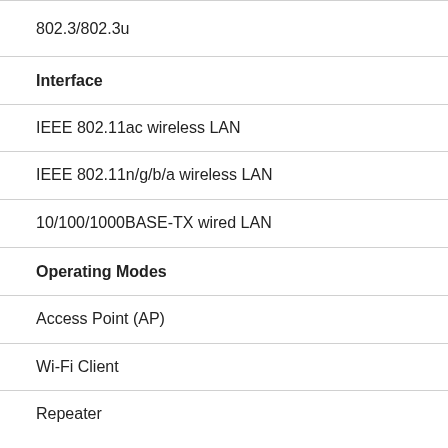802.3/802.3u
Interface
IEEE 802.11ac wireless LAN
IEEE 802.11n/g/b/a wireless LAN
10/100/1000BASE-TX wired LAN
Operating Modes
Access Point (AP)
Wi-Fi Client
Repeater